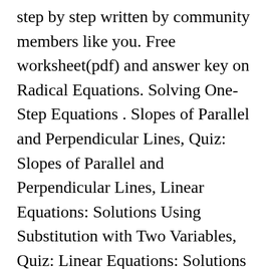step by step written by community members like you. Free worksheet(pdf) and answer key on Radical Equations. Solving One-Step Equations . Slopes of Parallel and Perpendicular Lines, Quiz: Slopes of Parallel and Perpendicular Lines, Linear Equations: Solutions Using Substitution with Two Variables, Quiz: Linear Equations: Solutions Using Substitution with Two Variables, Linear Equations: Solutions Using Elimination with Two Variables, Quiz: Linear Equations: Solutions Using Elimination with Two Variables, Linear Equations: Solutions Using Matrices with Two Variables, Linear Equations: Solutions Using Graphing with Two Variables, Quiz: Linear Equations: Solutions Using Graphing